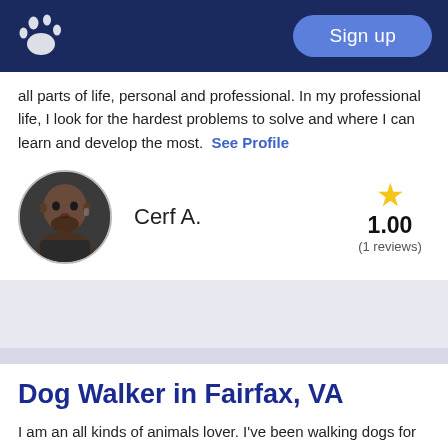Sign up
all parts of life, personal and professional. In my professional life, I look for the hardest problems to solve and where I can learn and develop the most.  See Profile
Cerf A.  1.00  (1 reviews)
Dog Walker in Fairfax, VA
I am an all kinds of animals lover. I've been walking dogs for about 5 years now and I love doing it! Love netting and interacting with new dogs. I take pride in walking dogs because I know it's helping someone out.  See Profile